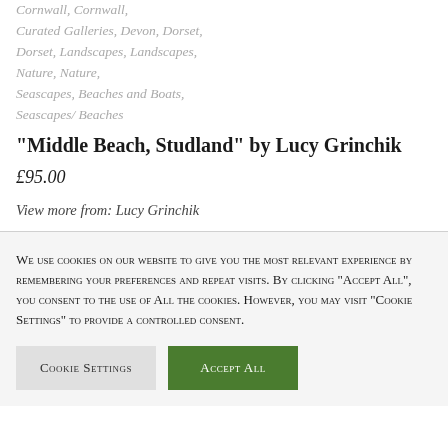Cornwall, Cornwall, Curated Galleries, Devon, Dorset, Dorset, Landscapes, Landscapes, Nature, Nature, Seascapes, Beaches and Boats, Seascapes/ Beaches
“Middle Beach, Studland” by Lucy Grinchik
£95.00
View more from: Lucy Grinchik
We use cookies on our website to give you the most relevant experience by remembering your preferences and repeat visits. By clicking “Accept All”, you consent to the use of ALL the cookies. However, you may visit “Cookie Settings” to provide a controlled consent.